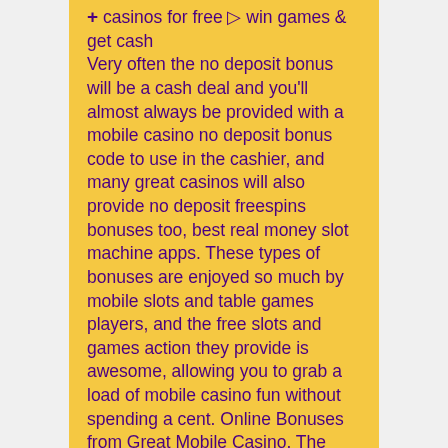✚ casinos for free ▷ win games &amp; get cash Very often the no deposit bonus will be a cash deal and you'll almost always be provided with a mobile casino no deposit bonus code to use in the cashier, and many great casinos will also provide no deposit freespins bonuses too, best real money slot machine apps. These types of bonuses are enjoyed so much by mobile slots and table games players, and the free slots and games action they provide is awesome, allowing you to grab a load of mobile casino fun without spending a cent. Online Bonuses from Great Mobile Casino. The best iOS and Android mobile casinos will all provide an endless stream of fantastic bonuses, player rewards and plenty more and as a member of a quality smartphone and tablet casino, of which you'll find many options right here, you'll see that a world of free play, free spins